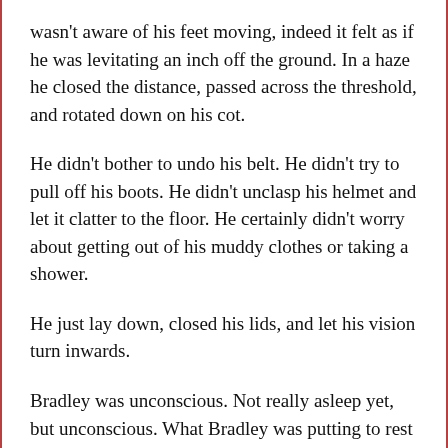wasn't aware of his feet moving, indeed it felt as if he was levitating an inch off the ground. In a haze he closed the distance, passed across the threshold, and rotated down on his cot.
He didn't bother to undo his belt. He didn't try to pull off his boots. He didn't unclasp his helmet and let it clatter to the floor. He certainly didn't worry about getting out of his muddy clothes or taking a shower.
He just lay down, closed his lids, and let his vision turn inwards.
Bradley was unconscious. Not really asleep yet, but unconscious. What Bradley was putting to rest was not his body, it was the machine. He was powering it down. Its vise-like grip slowly unclenched. And now, at last, his mind and body had room enough to start going to work on themselves. Now at last, all the things that he had been